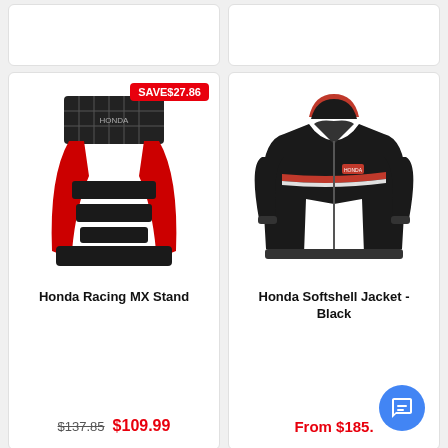[Figure (photo): Top-left product card, partially visible, cut off at top]
[Figure (photo): Top-right product card, partially visible, cut off at top]
[Figure (photo): Honda Racing MX Stand — red and black motorcycle stand with grid top platform]
SAVE$27.86
Honda Racing MX Stand
$137.85 $109.99
[Figure (photo): Honda Softshell Jacket - Black — black zip-up jacket with red accents and hood]
Honda Softshell Jacket - Black
From $185.